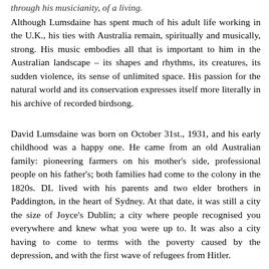Although Lumsdaine has spent much of his adult life working in the U.K., his ties with Australia remain, spiritually and musically, strong. His music embodies all that is important to him in the Australian landscape – its shapes and rhythms, its creatures, its sudden violence, its sense of unlimited space. His passion for the natural world and its conservation expresses itself more literally in his archive of recorded birdsong.
David Lumsdaine was born on October 31st., 1931, and his early childhood was a happy one. He came from an old Australian family: pioneering farmers on his mother's side, professional people on his father's; both families had come to the colony in the 1820s. DL lived with his parents and two elder brothers in Paddington, in the heart of Sydney. At that date, it was still a city the size of Joyce's Dublin; a city where people recognised you everywhere and knew what you were up to. It was also a city having to come to terms with the poverty caused by the depression, and with the first wave of refugees from Hitler.